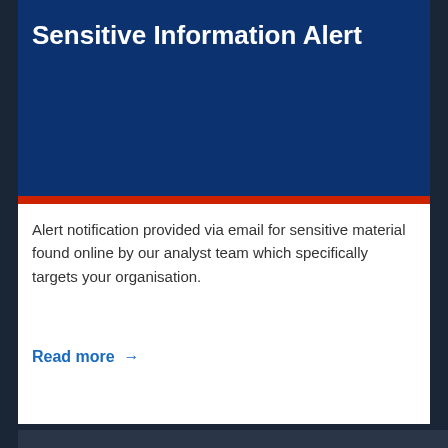Sensitive Information Alert
Alert notification provided via email for sensitive material found online by our analyst team which specifically targets your organisation.
Read more →
Subscribe for updates.
Email →
Twitter →